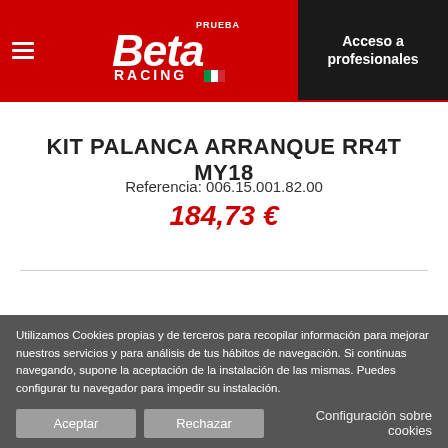Beta Racing — Acceso a profesionales
KIT PALANCA ARRANQUE RR4T MY18
Referencia: 006.15.001.82.00
184,73 €
+ 1 -
Utilizamos Cookies propias y de terceros para recopilar información para mejorar nuestros servicios y para análisis de tus hábitos de navegación. Si continuas navegando, supone la aceptación de la instalación de las mismas. Puedes configurar tu navegador para impedir su instalación.
Aceptar | Rechazar | Configuración sobre cookies